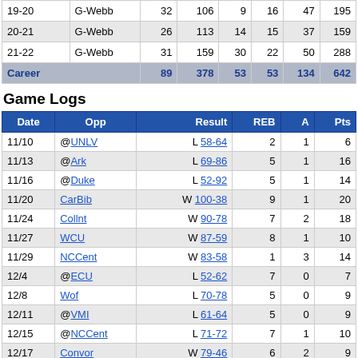| Year | Team | G | REB | A | Stl | Blk | Pts |
| --- | --- | --- | --- | --- | --- | --- | --- |
| 19-20 | G-Webb | 32 | 106 | 9 | 16 | 47 | 195 |
| 20-21 | G-Webb | 26 | 113 | 14 | 15 | 37 | 159 |
| 21-22 | G-Webb | 31 | 159 | 30 | 22 | 50 | 288 |
| Career |  | 89 | 378 | 53 | 53 | 134 | 642 |
Game Logs
| Date | Opp | Result | REB | A | Pts |
| --- | --- | --- | --- | --- | --- |
| 11/10 | @UNLV | L 58-64 | 2 | 1 | 6 |
| 11/13 | @Ark | L 69-86 | 5 | 1 | 16 |
| 11/16 | @Duke | L 52-92 | 5 | 1 | 14 |
| 11/20 | CarBib | W 100-38 | 9 | 1 | 20 |
| 11/24 | Collnt | W 90-78 | 7 | 2 | 18 |
| 11/27 | WCU | W 87-59 | 8 | 1 | 10 |
| 11/29 | NCCent | W 83-58 | 1 | 3 | 14 |
| 12/4 | @ECU | L 52-62 | 7 | 0 | 7 |
| 12/8 | Wof | L 70-78 | 5 | 0 | 9 |
| 12/11 | @VMI | L 61-64 | 5 | 0 | 9 |
| 12/15 | @NCCent | L 71-72 | 7 | 1 | 10 |
| 12/17 | Convor | W 79-46 | 6 | 2 | 9 |